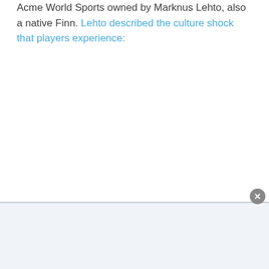Acme World Sports owned by Marknus Lehto, also a native Finn. Lehto described the culture shock that players experience:
"The Fin...